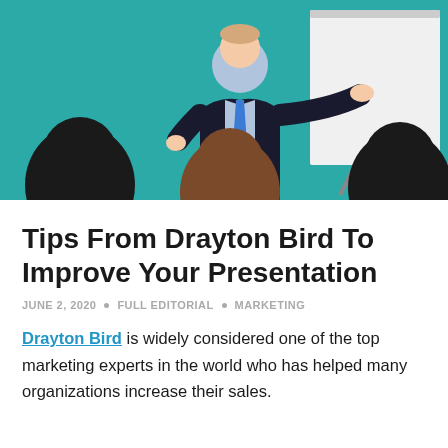[Figure (illustration): Illustration of a presenter in a black suit and blue tie pointing at a whiteboard/flipchart, with three audience members shown from behind in the foreground, on a teal background.]
Tips From Drayton Bird To Improve Your Presentation
JUNE 2, 2020 • FULL EDITORIAL • MARKETING
Drayton Bird is widely considered one of the top marketing experts in the world who has helped many organizations increase their sales.